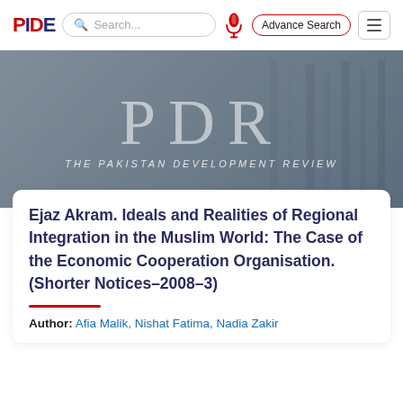PIDE | Search... | Advance Search
[Figure (photo): Hero banner with blurred library background showing bookshelves, with large semi-transparent text 'PDR' and subtitle 'THE PAKISTAN DEVELOPMENT REVIEW']
Ejaz Akram. Ideals and Realities of Regional Integration in the Muslim World: The Case of the Economic Cooperation Organisation. (Shorter Notices-2008-3)
Author: Afia Malik, Nishat Fatima, Nadia Zakir